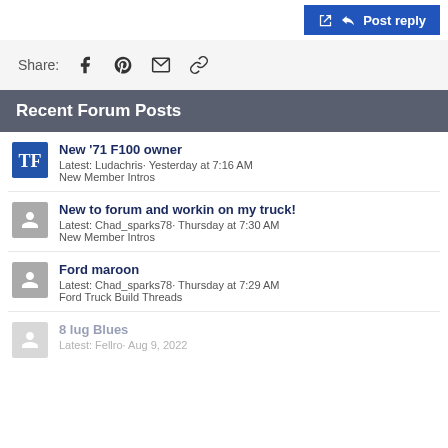Post reply
Share:
Recent Forum Posts
New '71 F100 owner
Latest: Ludachris· Yesterday at 7:16 AM
New Member Intros
New to forum and workin on my truck!
Latest: Chad_sparks78· Thursday at 7:30 AM
New Member Intros
Ford maroon
Latest: Chad_sparks78· Thursday at 7:29 AM
Ford Truck Build Threads
8 lug Blues
Latest: Fellro· Aug 9, 2022